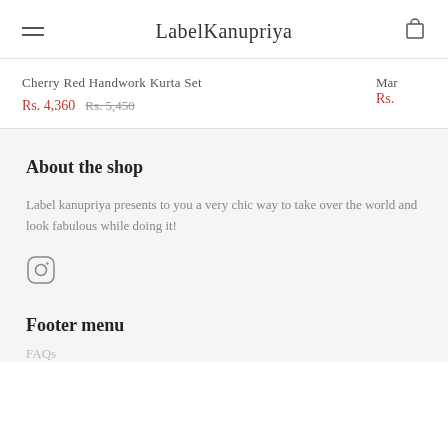LabelKanupriya
Cherry Red Handwork Kurta Set
Rs. 4,360  Rs. 5,450
About the shop
Label kanupriya presents to you a very chic way to take over the world and look fabulous while doing it!
Footer menu
FAQs